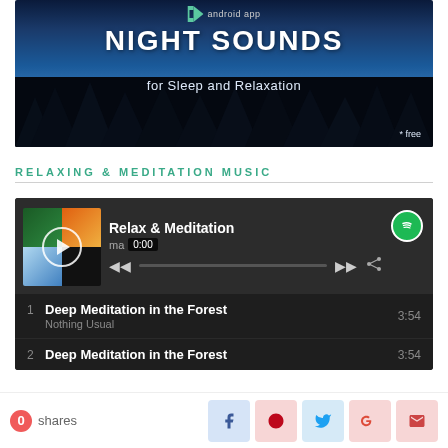[Figure (illustration): Android app advertisement for 'Night Sounds for Sleep and Relaxation' showing a night sky with stars, silhouetted trees, and text overlay. Labeled as free.]
RELAXING & MEDITATION MUSIC
[Figure (screenshot): Spotify embedded music player widget for 'Relax & Meditation' playlist showing track list. Track 1: Deep Meditation in the Forest by Nothing Usual, 3:54. Track 2: Deep Meditation in the Forest, 3:54. Playback at 0:00.]
0 shares [Facebook] [Pinterest] [Twitter] [Google+] [Email]